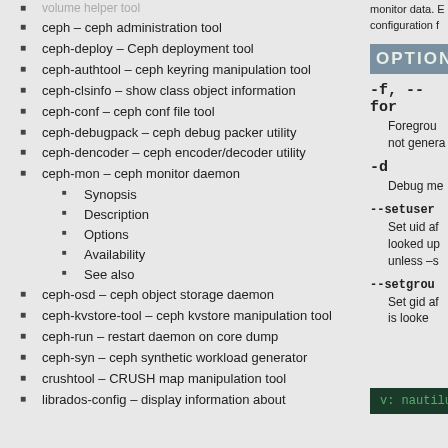volume helper tool
ceph – ceph administration tool
ceph-deploy – Ceph deployment tool
ceph-authtool – ceph keyring manipulation tool
ceph-clsinfo – show class object information
ceph-conf – ceph conf file tool
ceph-debugpack – ceph debug packer utility
ceph-dencoder – ceph encoder/decoder utility
ceph-mon – ceph monitor daemon
Synopsis
Description
Options
Availability
See also
ceph-osd – ceph object storage daemon
ceph-kvstore-tool – ceph kvstore manipulation tool
ceph-run – restart daemon on core dump
ceph-syn – ceph synthetic workload generator
crushtool – CRUSH map manipulation tool
librados-config – display information about
OPTIONS
monitor data. E configuration f
-f, --for
Foreground. not genera
-d
Debug me
--setuser
Set uid after looked up unless -s
v: nautilus
--setgrou
Set gid after is looke